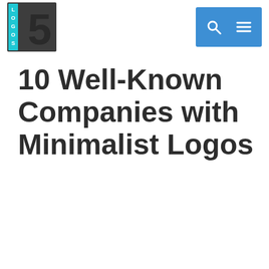[Figure (logo): Logos5 website logo: a dark gray square with the number 5 and cyan vertical text 'LOGOS' on the left side]
[Figure (other): Navigation bar with blue background containing a search icon (magnifying glass) and a hamburger menu icon]
10 Well-Known Companies with Minimalist Logos